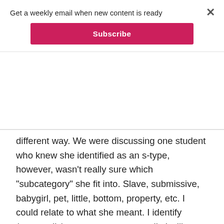Get a weekly email when new content is ready
Subscribe
different way. We were discussing one student who knew she identified as an s-type, however, wasn't really sure which "subcategory" she fit into. Slave, submissive, babygirl, pet, little, bottom, property, etc. I could relate to what she meant. I identify (personally) as an s-type – normally I will say submissive, yet I am sometimes more in the headspace of a babygirl or perhaps a pet. There are plenty of times I identify as a bottom – especially when I am doing a demo or acting as a practice bottom. I also fall under the category of "service Top" when teaching or doing an educational scene, however I don't consider myself a Dominant at all.